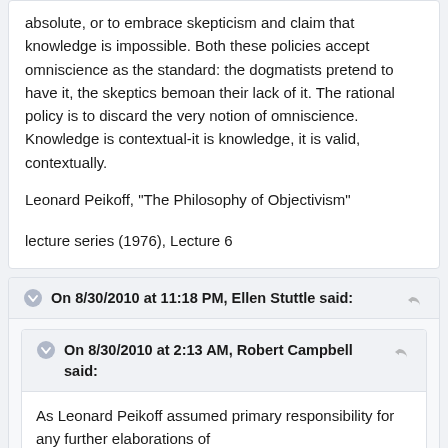absolute, or to embrace skepticism and claim that knowledge is impossible. Both these policies accept omniscience as the standard: the dogmatists pretend to have it, the skeptics bemoan their lack of it. The rational policy is to discard the very notion of omniscience. Knowledge is contextual-it is knowledge, it is valid, contextually.
Leonard Peikoff, "The Philosophy of Objectivism"
lecture series (1976), Lecture 6
On 8/30/2010 at 11:18 PM, Ellen Stuttle said:
On 8/30/2010 at 2:13 AM, Robert Campbell said:
As Leonard Peikoff assumed primary responsibility for any further elaborations of